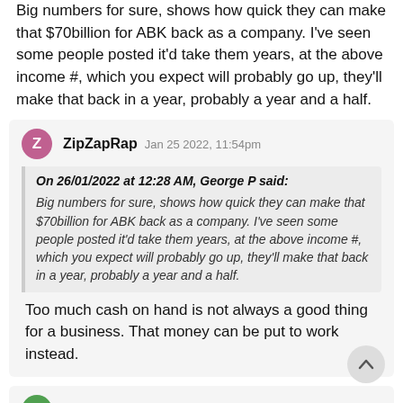Big numbers for sure, shows how quick they can make that $70billion for ABK back as a company. I've seen some people posted it'd take them years, at the above income #, which you expect will probably go up, they'll make that back in a year, probably a year and a half.
ZipZapRap  Jan 25 2022, 11:54pm
On 26/01/2022 at 12:28 AM, George P said:
Big numbers for sure, shows how quick they can make that $70billion for ABK back as a company. I've seen some people posted it'd take them years, at the above income #, which you expect will probably go up, they'll make that back in a year, probably a year and a half.
Too much cash on hand is not always a good thing for a business. That money can be put to work instead.
George P  Jan 26 2022, 3:01 am
On 26/01/2022 at 04:21 AM, ZipZapRap said: